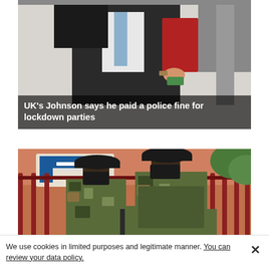[Figure (photo): A man in a dark suit carrying a red folder, partially visible from chest down, walking outside.]
UK’s Johnson says he paid a police fine for lockdown parties
[Figure (photo): Two soldiers in camouflage uniforms wearing black face masks standing in front of a red metal fence gate. A Nations Trust Bank sign is visible in the background.]
We use cookies in limited purposes and legitimate manner. You can review your data policy.